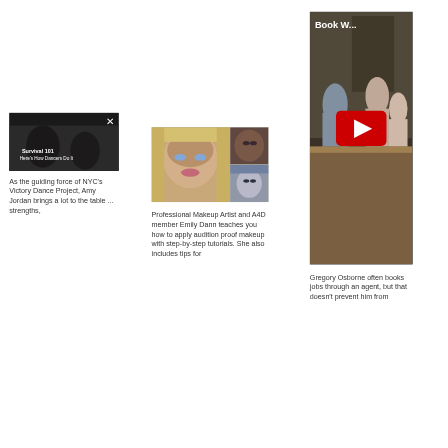[Figure (screenshot): Dark video thumbnail with 'Survival 101 Here's How Dancers Do It' text and X close button]
[Figure (photo): Collage of makeup/beauty photos showing a woman with blonde hair and blue eyes and two smaller beauty shots]
[Figure (screenshot): YouTube video thumbnail titled 'Book W...' showing people at a table with red YouTube play button]
As the guiding force of NYC's Victory Dance Project, Amy Jordan brings a lot to the table ... strengths,
Professional Makeup Artist and A4D member Emily Dann teaches you how to apply audition proof makeup with step-by-step tutorials. She also includes tips for
Gregory Osborne often books jobs through an agent, but that doesn't prevent him from